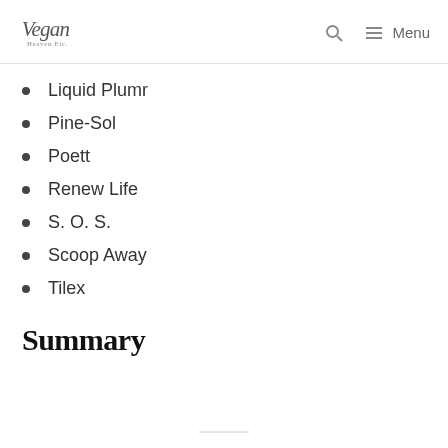Vegan Heaven — Menu
Liquid Plumr
Pine-Sol
Poett
Renew Life
S. O. S.
Scoop Away
Tilex
Summary